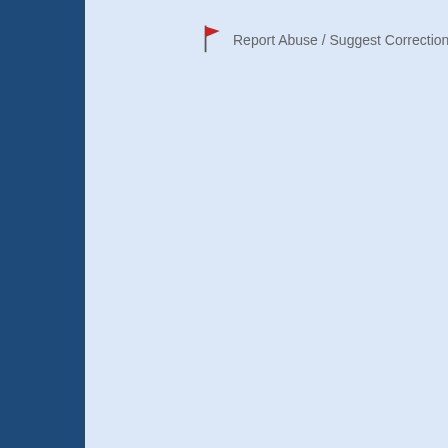[Figure (screenshot): Red flag icon used for reporting abuse or suggesting a correction]
Report Abuse / Suggest Correction
When you're ready to print, jus
Quick Feedback for Knowledg
Want to suggest a feature? Report a prob below:
From (optional):
Name
Email
Message:
Send Feedback